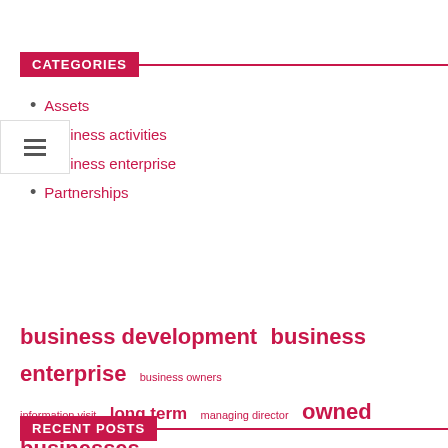CATEGORIES
Assets
Business activities
Business enterprise
Partnerships
[Figure (infographic): Tag cloud with business-related terms in varying sizes. Terms include: business development, business enterprise, business owners, information visit, long term, managing director, owned businesses, owned operated, press release, real estate, united states, vice president, visit www, women business, women owned]
RECENT POSTS